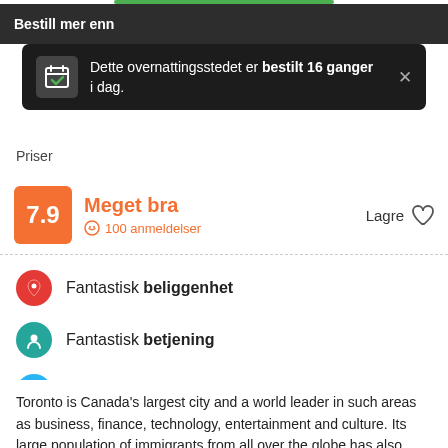Bestill mer enn
Dette overnattingsstedet er bestilt 16 ganger i dag.
Priser
7.9
Meget bra
100 anmeldelser
Lagre
Fantastisk beliggenhet
Fantastisk betjening
Kjempegodt renhold
Toronto is Canada's largest city and a world leader in such areas as business, finance, technology, entertainment and culture. Its large population of immigrants from all over the globe has also made Toronto one of the most multicultural cities in the world.
Samesun Toronto sits nestled in the downtown area, in Kensington Market, one of Toronto most eclectic and vibrant neighbourhoods.